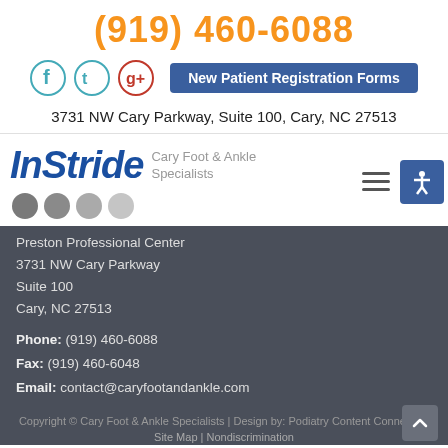(919) 460-6088
[Figure (infographic): Social media icons (Facebook, Twitter, Google+) and a New Patient Registration Forms button]
3731 NW Cary Parkway, Suite 100, Cary, NC 27513
[Figure (logo): InStride Cary Foot & Ankle Specialists logo with decorative dots]
Preston Professional Center
3731 NW Cary Parkway
Suite 100
Cary, NC 27513
Phone: (919) 460-6088
Fax: (919) 460-6048
Email: contact@caryfootandankle.com
Copyright © Cary Foot & Ankle Specialists | Design by: Podiatry Content Connection
Site Map | Nondiscrimination